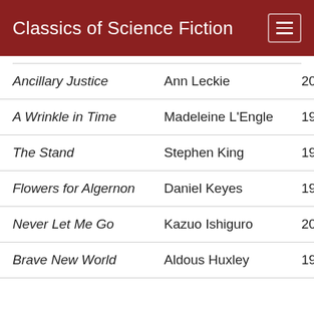Classics of Science Fiction
| Ancillary Justice | Ann Leckie | 2013 | 15 |
| A Wrinkle in Time | Madeleine L'Engle | 1962 | 20 |
| The Stand | Stephen King | 1978 | 12 |
| Flowers for Algernon | Daniel Keyes | 1966 | 33 |
| Never Let Me Go | Kazuo Ishiguro | 2005 | 12 |
| Brave New World | Aldous Huxley | 1932 | 33 |